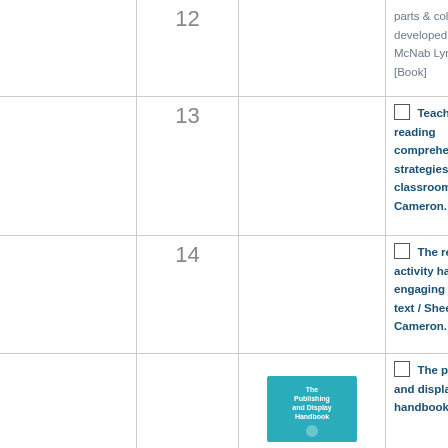|  | No. | Image | Resource |
| --- | --- | --- | --- |
|  | 12 |  | parts & colour developed by Riley-McNab Lynette Riley [Book] |
|  | 13 |  | Teaching reading comprehension strategies practical classroom / Sheena Cameron. [Book] |
|  | 14 |  | The reading activity handbook engaging responses text / Sheena Cameron. [Book] |
|  |  | book image | The publishing and display handbook [Book] |